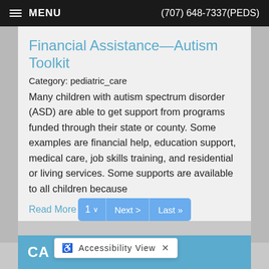≡ MENU    (707) 648-7337(PEDS)
Financial Assistance—Autism Toolkit
Category: pediatric_care
Many children with autism spectrum disorder (ASD) are able to get support from programs funded through their state or county. Some examples are financial help, education support, medical care, job skills training, and residential or living services. Some supports are available to all children because
Read More
1  ∨  Next >  Last »
CA   Accessibility View  ✕